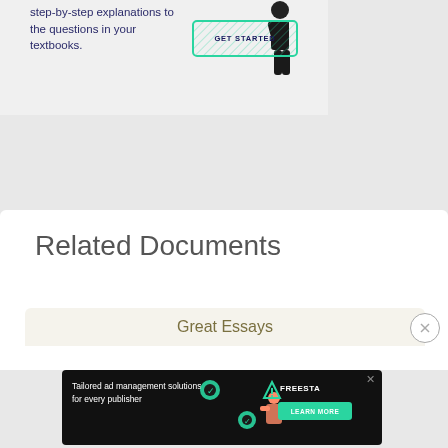step-by-step explanations to the questions in your textbooks.
[Figure (illustration): GET STARTED button with teal border and diagonal stripe pattern, with a standing figure in dark clothing]
Related Documents
Great Essays
[Figure (infographic): Advertisement banner: Tailored ad management solutions for every publisher - FREESTA - LEARN MORE button]